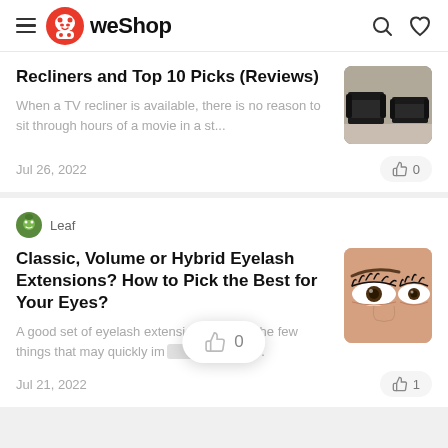weShop
Recliners and Top 10 Picks (Reviews)
When a TV recliner is available, there is no reason to sit through hours of a movie in a st...
Jul 26, 2022
Leaf
Classic, Volume or Hybrid Eyelash Extensions? How to Pick the Best for Your Eyes?
A good set of eyelash extension is one of the few things that may quickly im... your sel...
Jul 21, 2022